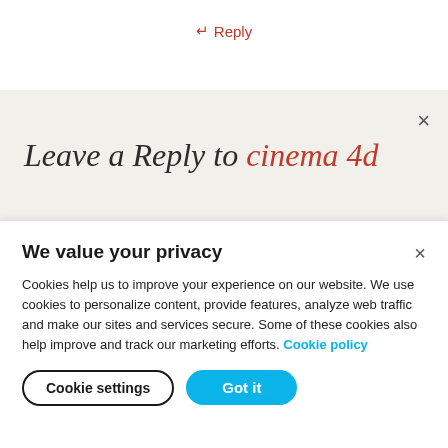↵ Reply
Leave a Reply to cinema 4d ×
We value your privacy
Cookies help us to improve your experience on our website. We use cookies to personalize content, provide features, analyze web traffic and make our sites and services secure. Some of these cookies also help improve and track our marketing efforts. Cookie policy
Cookie settings
Got it